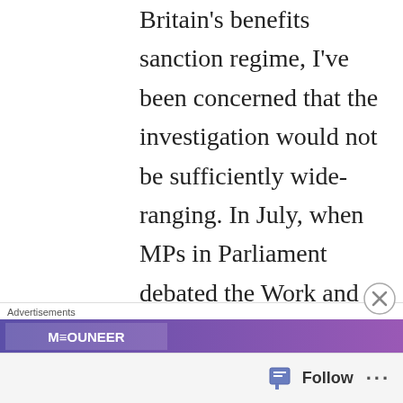Britain's benefits sanction regime, I've been concerned that the investigation would not be sufficiently wide-ranging. In July, when MPs in Parliament debated the Work and Pensions Committee's report into the role of Jobcentre Plus, the use of sanctions was repeatedly mentioned—but no one cited this article (http://www.mirror.co.uk/news/uk-news/stitching-up-claimants-part-job-says-3537051) and its serious allegations that has first in int...
Advertisements
Follow ...